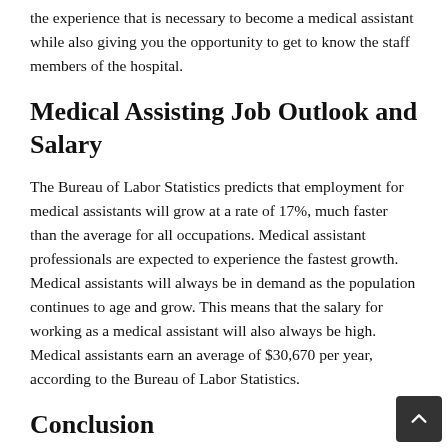the experience that is necessary to become a medical assistant while also giving you the opportunity to get to know the staff members of the hospital.
Medical Assisting Job Outlook and Salary
The Bureau of Labor Statistics predicts that employment for medical assistants will grow at a rate of 17%, much faster than the average for all occupations. Medical assistant professionals are expected to experience the fastest growth. Medical assistants will always be in demand as the population continues to age and grow. This means that the salary for working as a medical assistant will also always be high. Medical assistants earn an average of $30,670 per year, according to the Bureau of Labor Statistics.
Conclusion
Working as a medical assistant can be a great way to e